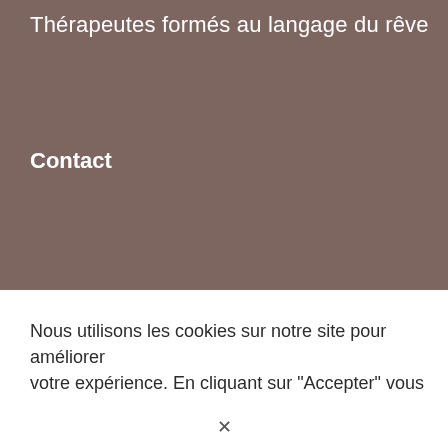Thérapeutes formés au langage du rêve
Contact
Nous utilisons les cookies sur notre site pour améliorer votre expérience. En cliquant sur "Accepter" vous